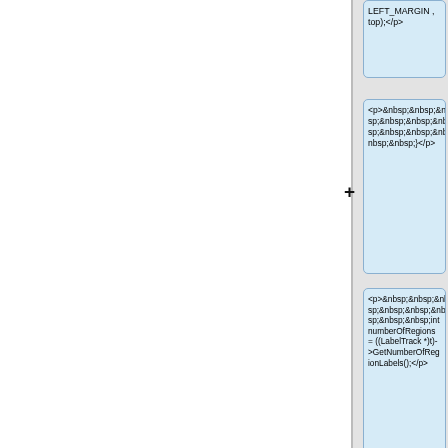LEFT_MARGIN , top);</p>
<p>&nbsp;&nbsp;&nbsp;&nbsp;&nbsp;&nbsp;&nbsp;&nbsp;&nbsp;&nbsp;&nbsp;&nbsp;&nbsp;&nbsp;}</p>
<p>&nbsp;&nbsp;&nbsp;&nbsp;&nbsp;&nbsp;&nbsp;&nbsp;&nbsp;&nbsp;&nbsp;&nbsp;&nbsp;&nbsp;int numberOfRegions = ((LabelTrack *)t)->GetNumberOfRegionLabels();</p>
<p>&nbsp;&nbsp;&nbsp;&nbsp;&nbsp;&nbsp;&nbsp;&nbsp;&nbsp;&nbsp;&nbsp;&nbsp;&nbsp;&nbsp;if (numberOfRegions != 0) {</p>
<p>&nbsp;&nbsp;&nbsp;&nbsp;&nbsp;&nbsp;&nb